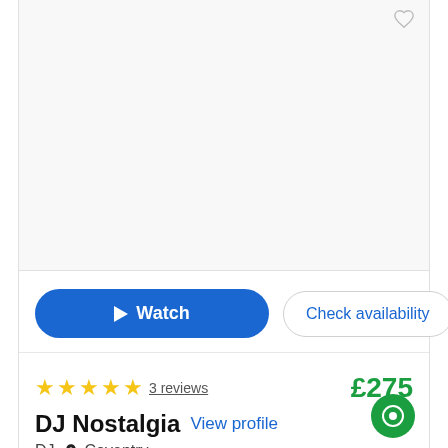[Figure (screenshot): Empty video/image area with a heart/bookmark icon in the top right corner]
Watch   Check availability
★★★★★ 3 reviews   £275
DJ Nostalgia   View profile
DJ  📍 Coventry
If your looking for a night of fun and pure party entertainment take a trip with Dj